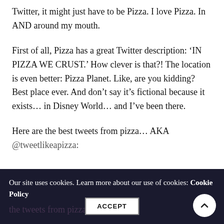Twitter, it might just have to be Pizza. I love Pizza. In AND around my mouth.
First of all, Pizza has a great Twitter description: ‘IN PIZZA WE CRUST.’ How clever is that?! The location is even better: Pizza Planet. Like, are you kidding? Best place ever. And don’t say it’s fictional because it exists… in Disney World… and I’ve been there.
Here are the best tweets from pizza… AKA @tweetlikeapizza:
Our site uses cookies. Learn more about our use of cookies: Cookie Policy